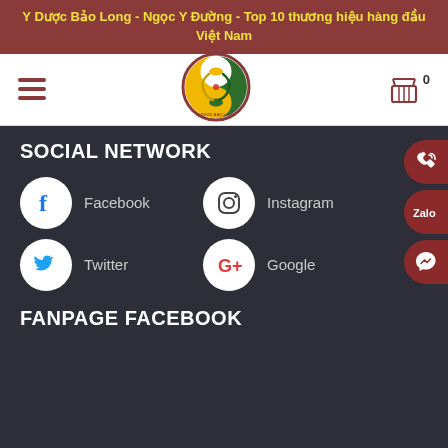Y Dược Bảo Long - Ngọc Y Đường - Top 10 thương hiệu hàng đầu Việt Nam
[Figure (logo): Y Dược Bảo Long logo - circular badge with dragon and yin-yang symbol]
SOCIAL NETWORK
Facebook
Instagram
Twitter
Google
FANPAGE FACEBOOK